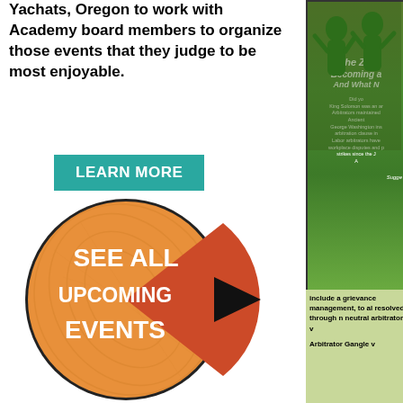Yachats, Oregon to work with Academy board members to organize those events that they judge to be most enjoyable.
LEARN MORE
[Figure (illustration): Orange circle with wood grain texture on left half, red-orange wedge on right, black arrow pointing right, white bold text reading SEE ALL UPCOMING EVENTS]
[Figure (illustration): Book advertisement - The Zig... Becoming a... And What - on green background with figures. Yachats Academy branding, YachatsAcademy.or... URL, Supported by the Friends...]
include a grievance management, to al resolved through n neutral arbitrator, v
Arbitrator Gangle v